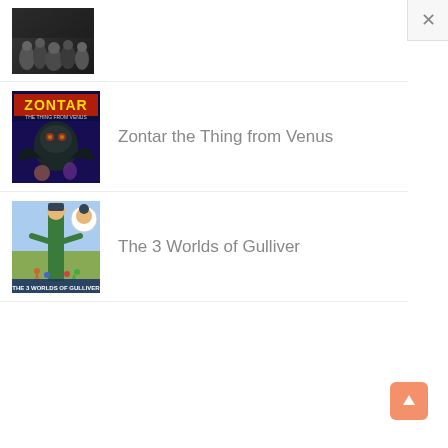[Figure (photo): Partial movie thumbnail - dark black and white crowd/people image, partially visible at top]
Zontar the Thing from Venus
[Figure (photo): Movie poster for Zontar the Thing from Venus - colorful sci-fi poster with creature and people]
The 3 Worlds of Gulliver
[Figure (photo): Movie poster for The 3 Worlds of Gulliver - colorful poster showing Gulliver with tiny people]